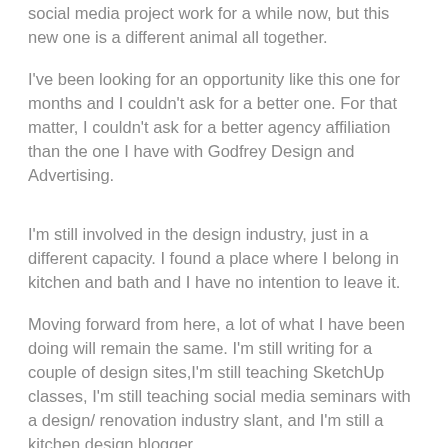social media project work for a while now, but this new one is a different animal all together.
I've been looking for an opportunity like this one for months and I couldn't ask for a better one. For that matter, I couldn't ask for a better agency affiliation than the one I have with Godfrey Design and Advertising.
I'm still involved in the design industry, just in a different capacity. I found a place where I belong in kitchen and bath and I have no intention to leave it.
Moving forward from here, a lot of what I have been doing will remain the same. I'm still writing for a couple of design sites,I'm still teaching SketchUp classes, I'm still teaching social media seminars with a design/ renovation industry slant, and I'm still a kitchen design blogger.
What's different now though is that I'm devoting myself full-time to disseminating new product news and building communities around brands, something I do better than